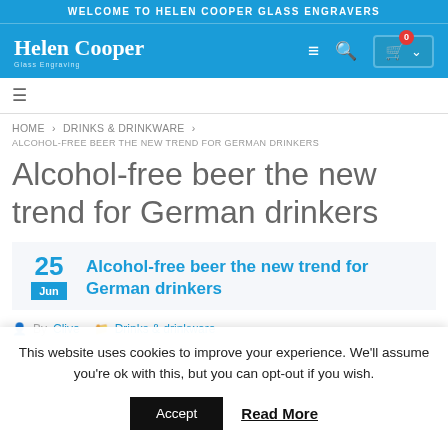WELCOME TO HELEN COOPER GLASS ENGRAVERS
[Figure (logo): Helen Cooper Glass Engravers logo with navigation bar including hamburger menu, search icon, and cart button showing 0 items]
HOME > DRINKS & DRINKWARE > ALCOHOL-FREE BEER THE NEW TREND FOR GERMAN DRINKERS
Alcohol-free beer the new trend for German drinkers
25 Jun — Alcohol-free beer the new trend for German drinkers
By Clive  Drinks & drinkware
This website uses cookies to improve your experience. We'll assume you're ok with this, but you can opt-out if you wish. Accept  Read More